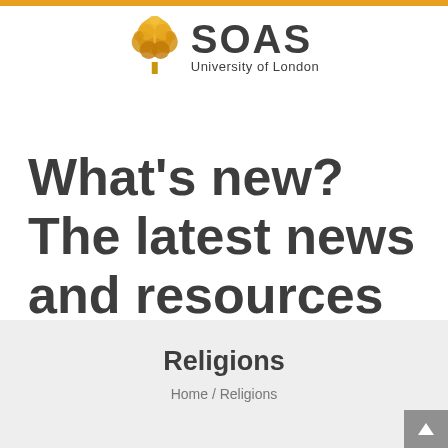[Figure (logo): SOAS University of London logo with golden tree icon and text]
What's new? The latest news and resources from SOAS subject librarians.
[Figure (other): Hamburger menu icon (three horizontal lines)]
Religions
Home / Religions